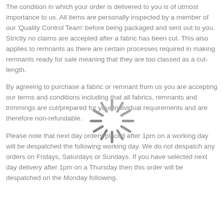The condition in which your order is delivered to you is of utmost importance to us. All items are personally inspected by a member of our 'Quality Control Team' before being packaged and sent out to you. Strictly no claims are accepted after a fabric has been cut. This also applies to remnants as there are certain processes required in making remnants ready for sale meaning that they are too classed as a cut-length.
By agreeing to purchase a fabric or remnant from us you are accepting our terms and conditions including that all fabrics, remnants and trimmings are cut/prepared for your individual requirements and are therefore non-refundable.
[Figure (other): Loading spinner graphic (animated wheel/sunburst loader icon) overlaying the second paragraph]
Please note that next day orders placed after 1pm on a working day will be despatched the following working day. We do not despatch any orders on Fridays, Saturdays or Sundays. If you have selected next day delivery after 1pm on a Thursday then this order will be despatched on the Monday following.